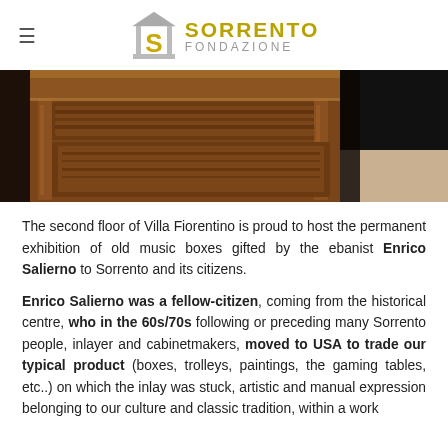≡  SORRENTO FONDAZIONE
[Figure (photo): Close-up photo of an ornately carved wooden music box or cabinet with detailed bas-relief decorations on its panels, shown in a museum or exhibition setting.]
The second floor of Villa Fiorentino is proud to host the permanent exhibition of old music boxes gifted by the ebanist Enrico Salierno to Sorrento and its citizens.
Enrico Salierno was a fellow-citizen, coming from the historical centre, who in the 60s/70s following or preceding many Sorrento people, inlayer and cabinetmakers, moved to USA to trade our typical product (boxes, trolleys, paintings, the gaming tables, etc..) on which the inlay was stuck, artistic and manual expression belonging to our culture and classic tradition, within a work